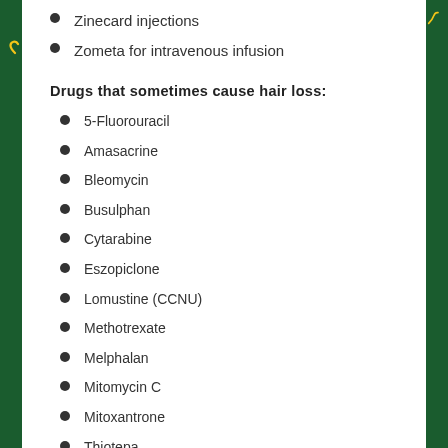Zinecard injections
Zometa for intravenous infusion
Drugs that sometimes cause hair loss:
5-Fluorouracil
Amasacrine
Bleomycin
Busulphan
Cytarabine
Eszopiclone
Lomustine (CCNU)
Methotrexate
Melphalan
Mitomycin C
Mitoxantrone
Thiotepa
Valtrou